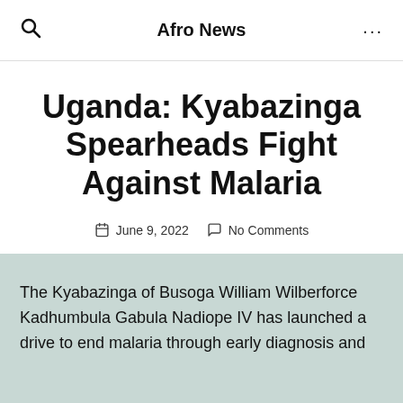Afro News
Uganda: Kyabazinga Spearheads Fight Against Malaria
June 9, 2022   No Comments
The Kyabazinga of Busoga William Wilberforce Kadhumbula Gabula Nadiope IV has launched a drive to end malaria through early diagnosis and